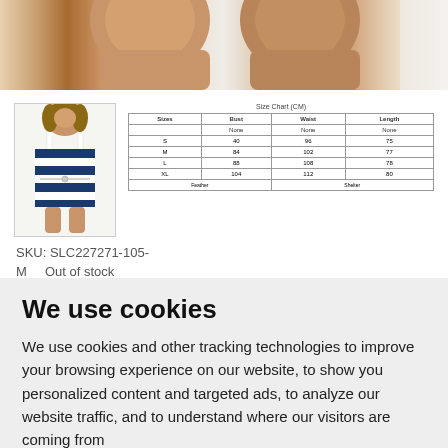[Figure (photo): Cropped photo showing lower torso and legs of a person with tanned skin against a light background]
[Figure (photo): Thumbnail image of a woman wearing a navy blue and white striped sleeveless mini dress with a drawstring waist]
| Size | Bust | Waist | Length |
| --- | --- | --- | --- |
|  | None | None | None |
| S | 40 | 96 | 75 |
| M | 84 | 102 | 77 |
| L | 88 | 108 | 78 |
| XL | 104 | 112 | 80 |
SKU: SLC227271-105-M    Out of stock
We use cookies
We use cookies and other tracking technologies to improve your browsing experience on our website, to show you personalized content and targeted ads, to analyze our website traffic, and to understand where our visitors are coming from